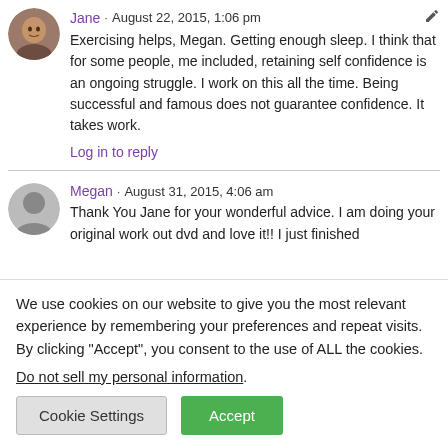Jane · August 22, 2015, 1:06 pm
Exercising helps, Megan. Getting enough sleep. I think that for some people, me included, retaining self confidence is an ongoing struggle. I work on this all the time. Being successful and famous does not guarantee confidence. It takes work.
Log in to reply
Megan · August 31, 2015, 4:06 am
Thank You Jane for your wonderful advice. I am doing your original work out dvd and love it!! I just finished
We use cookies on our website to give you the most relevant experience by remembering your preferences and repeat visits. By clicking "Accept", you consent to the use of ALL the cookies.
Do not sell my personal information.